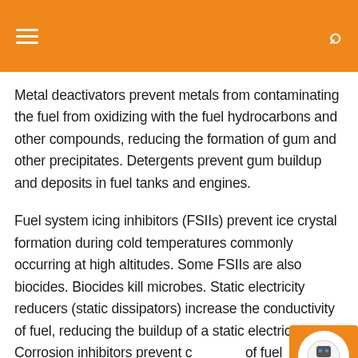Metal deactivators prevent metals from contaminating the fuel from oxidizing with the fuel hydrocarbons and other compounds, reducing the formation of gum and other precipitates. Detergents prevent gum buildup and deposits in fuel tanks and engines.
Fuel system icing inhibitors (FSIIs) prevent ice crystal formation during cold temperatures commonly occurring at high altitudes. Some FSIIs are also biocides. Biocides kill microbes. Static electricity reducers (static dissipators) increase the conductivity of fuel, reducing the buildup of a static electric charge. Corrosion inhibitors prevent corrosion of fuel infrastructure (e.g. storage tanks).